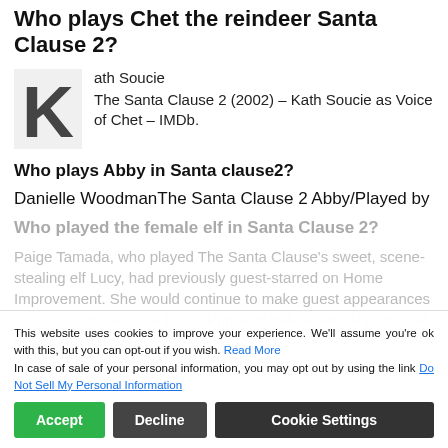Who plays Chet the reindeer Santa Clause 2?
Kath Soucie
The Santa Clause 2 (2002) – Kath Soucie as Voice of Chet – IMDb.
Who plays Abby in Santa clause2?
Danielle WoodmanThe Santa Clause 2 Abby/Played by
Who played the female elf in Santa Clause 2?
Paige Tamada, who played The Santa Clause's sweet, scene-stealing elf Lucy, had previously guest-starred on Home Improvement. She would continue to make guest appearances in '90s shows like The Fresh Prince of Bel-Air and Ally McBeal before giving up
This website uses cookies to improve your experience. We'll assume you're ok with this, but you can opt-out if you wish. Read More
In case of sale of your personal information, you may opt out by using the link Do Not Sell My Personal Information